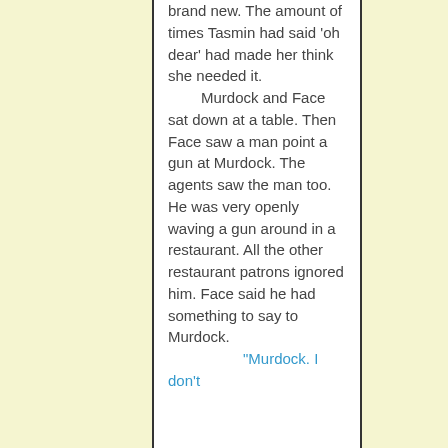brand new. The amount of times Tasmin had said 'oh dear' had made her think she needed it.

Murdock and Face sat down at a table. Then Face saw a man point a gun at Murdock. The agents saw the man too. He was very openly waving a gun around in a restaurant. All the other restaurant patrons ignored him. Face said he had something to say to Murdock.

"Murdock. I don't